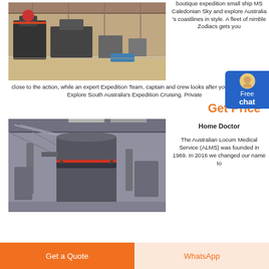[Figure (photo): Industrial machinery/mill equipment inside a large factory or warehouse]
boutique expedition small ship MS Caledonian Sky and explore Australia 's coastlines in style. A fleet of nimble Zodiacs gets you close to the action, while an expert Expedition Team, captain and crew looks after you all the way. Explore South Australia's Expedition Cruising. Private
Get Price
[Figure (photo): Large industrial cylindrical mill/grinder equipment inside a manufacturing facility]
Home Doctor
The Australian Locum Medical Service (ALMS) was founded in 1969. In 2016 we changed our name to
Get a Quote
WhatsApp